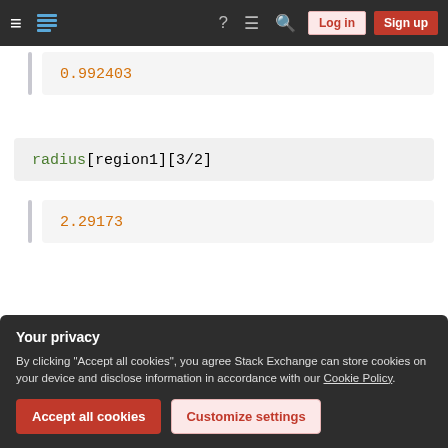Stack Exchange navigation bar with hamburger menu, logo, help, chat, search icons, Log in and Sign up buttons
0.992403
radius[region1][3/2]
2.29173
Your privacy
By clicking "Accept all cookies", you agree Stack Exchange can store cookies on your device and disclose information in accordance with our Cookie Policy.
Accept all cookies  Customize settings
pp = ParametricPlot[curve[x], {x, -2, 3}